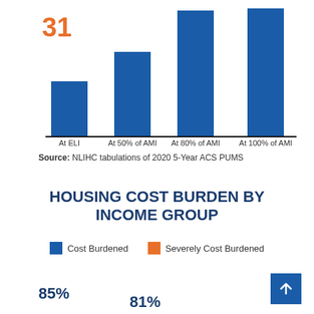31
[Figure (bar-chart): ]
Source: NLIHC tabulations of 2020 5-Year ACS PUMS
HOUSING COST BURDEN BY INCOME GROUP
Cost Burdened    Severely Cost Burdened
85%
81%